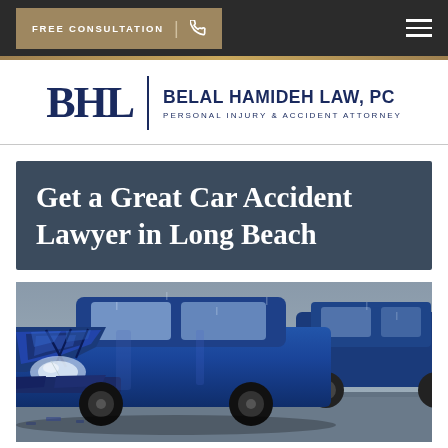FREE CONSULTATION
[Figure (logo): BHL Belal Hamideh Law, PC - Personal Injury & Accident Attorney logo]
Get a Great Car Accident Lawyer in Long Beach
[Figure (photo): Severely damaged blue car with crumpled hood and front end after a car accident]